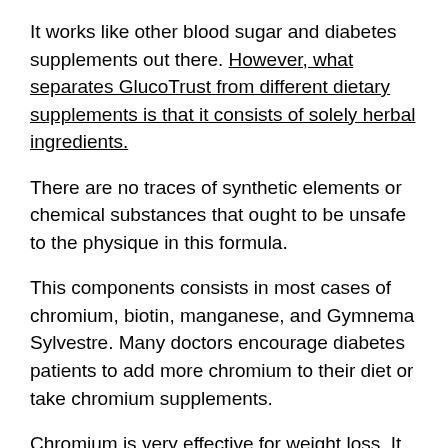It works like other blood sugar and diabetes supplements out there. However, what separates GlucoTrust from different dietary supplements is that it consists of solely herbal ingredients.
There are no traces of synthetic elements or chemical substances that ought to be unsafe to the physique in this formula.
This components consists in most cases of chromium, biotin, manganese, and Gymnema Sylvestre. Many doctors encourage diabetes patients to add more chromium to their diet or take chromium supplements.
Chromium is very effective for weight loss. It also contains other common blood glucose support ingredients, such as juniper berries, licorice root, and cinnamon.